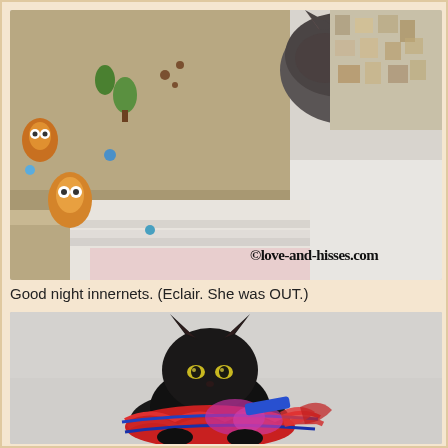[Figure (photo): Close-up photo of a sleeping cat curled up on patterned fleece blankets. The blankets feature owl and animal prints in orange, blue, green on a beige background. A watermark reads '@love-and-hisses.com'.]
Good night innernets. (Eclair. She was OUT.)
[Figure (photo): Photo of a black kitten wearing a red, blue, and purple ruffled costume/outfit, sitting and looking at the camera against a light gray background.]